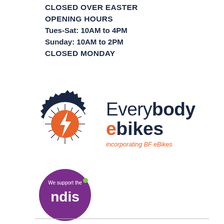CLOSED OVER EASTER
OPENING HOURS
Tues-Sat: 10AM to 4PM
Sunday: 10AM to 2PM
CLOSED MONDAY
[Figure (logo): Everybody eBikes logo: a gear/cog with orange lightning bolt circle in center, and text 'Everybody ebikes incorporating BF eBikes']
[Figure (logo): NDIS support badge: purple circle with 'We support the ndis' text and small green dot]